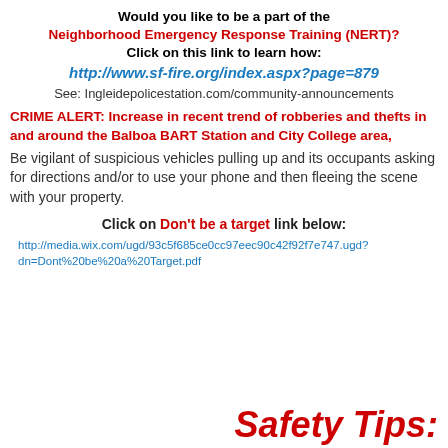Would you like to be a part of the Neighborhood Emergency Response Training (NERT)? Click on this link to learn how: http://www.sf-fire.org/index.aspx?page=879
See: Ingleidepolicestation.com/community-announcements
CRIME ALERT: Increase in recent trend of robberies and thefts in and around the Balboa BART Station and City College area,
Be vigilant of suspicious vehicles pulling up and its occupants asking for directions and/or to use your phone and then fleeing the scene with your property.
Click on Don't be a target link below:
http://media.wix.com/ugd/93c5f685ce0cc97eec90c42f92f7e747.ugd?dn=Dont%20be%20a%20Target.pdf
Safety Tips: